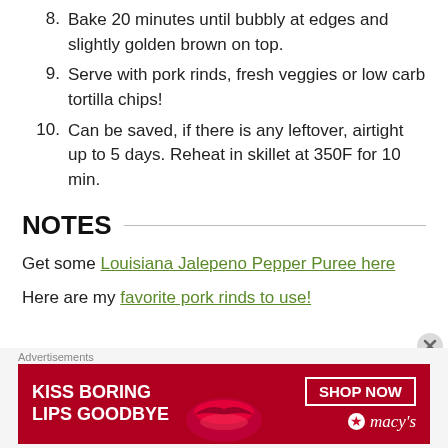8. Bake 20 minutes until bubbly at edges and slightly golden brown on top.
9. Serve with pork rinds, fresh veggies or low carb tortilla chips!
10. Can be saved, if there is any leftover, airtight up to 5 days. Reheat in skillet at 350F for 10 min.
NOTES
Get some Louisiana Jalepeno Pepper Puree here
Here are my favorite pork rinds to use!
[Figure (screenshot): Advertisement banner: Kiss Boring Lips Goodbye - Shop Now - Macy's]
Advertisements